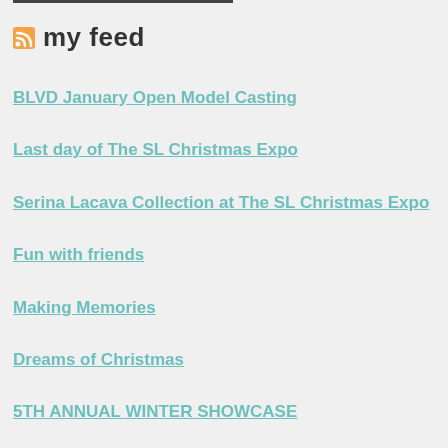my feed
BLVD January Open Model Casting
Last day of The SL Christmas Expo
Serina Lacava Collection at The SL Christmas Expo
Fun with friends
Making Memories
Dreams of Christmas
5TH ANNUAL WINTER SHOWCASE
Winter Magic